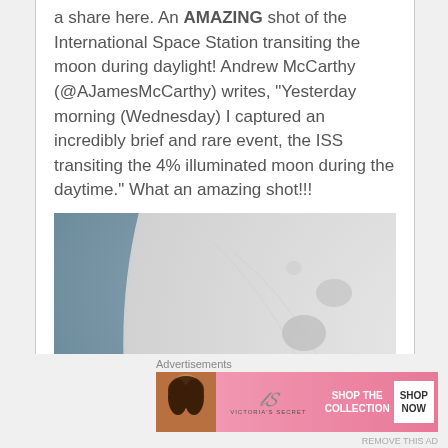a share here. An AMAZING shot of the International Space Station transiting the moon during daylight! Andrew McCarthy (@AJamesMcCarthy) writes, "Yesterday morning (Wednesday) I captured an incredibly brief and rare event, the ISS transiting the 4% illuminated moon during the daytime." What an amazing shot!!!
[Figure (photo): Close-up photograph of the crescent moon's limb against a blue-grey sky, showing detailed lunar surface craters.]
Advertisements
[Figure (infographic): Victoria's Secret advertisement banner. Pink gradient background with woman's face on left, VS logo and 'Victoria's Secret' text in center, 'SHOP THE COLLECTION' text, and 'SHOP NOW' button on right.]